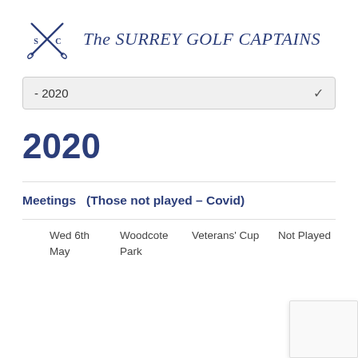The SURREY GOLF CAPTAINS
- 2020
2020
Meetings    (Those not played – Covid)
| Date | Venue | Event | Status |
| --- | --- | --- | --- |
| Wed 6th May | Woodcote Park | Veterans' Cup | Not Played |